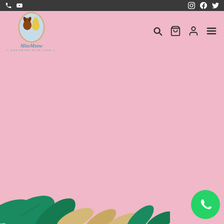Top navigation bar with phone, social icons (Instagram, Facebook, Twitter)
[Figure (logo): Miss Meow grooming with love logo - oval frame with dog and cat illustration, script text MissMeow and tagline GROOMING WITH LOVE]
[Figure (screenshot): Navigation icons: search (magnifying glass), cart, user/account, hamburger menu]
[Figure (illustration): Decorative botanical illustration with tropical leaves and flowers at bottom of page in green and gold tones]
[Figure (illustration): WhatsApp green circular button at bottom right corner]